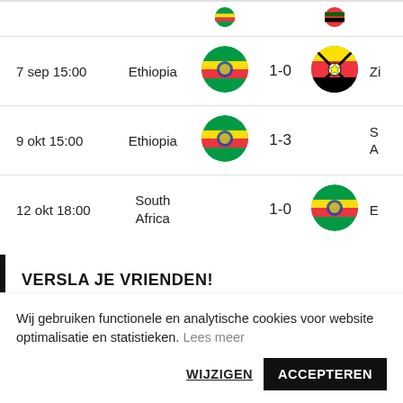| Date | Home |  | Score |  | Away |
| --- | --- | --- | --- | --- | --- |
| 7 sep 15:00 | Ethiopia | [Ethiopia flag] | 1-0 | [Zimbabwe flag] | Zi... |
| 9 okt 15:00 | Ethiopia | [Ethiopia flag] | 1-3 |  | S... A... |
| 12 okt 18:00 | South Africa |  | 1-0 | [Ethiopia flag] | E... |
VERSLA JE VRIENDEN!
Wij gebruiken functionele en analytische cookies voor website optimalisatie en statistieken. Lees meer
WIJZIGEN  ACCEPTEREN